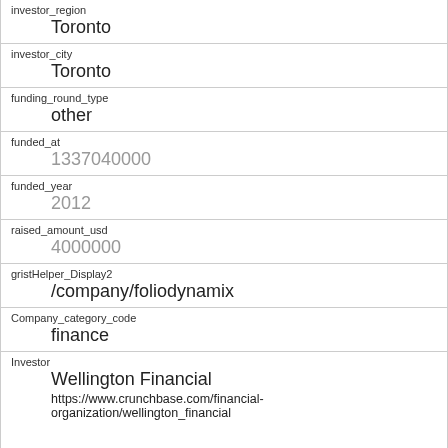| field | value |
| --- | --- |
| investor_region | Toronto |
| investor_city | Toronto |
| funding_round_type | other |
| funded_at | 1337040000 |
| funded_year | 2012 |
| raised_amount_usd | 4000000 |
| gristHelper_Display2 | /company/foliodynamix |
| Company_category_code | finance |
| Investor | Wellington Financial
https://www.crunchbase.com/financial-organization/wellington_financial |